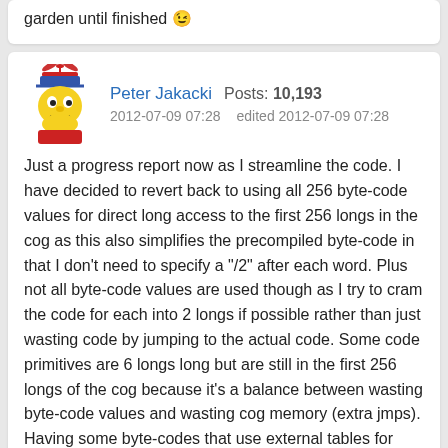Nice job Peter, may it rain a little more so you don't need to garden until finished 😉
Peter Jakacki  Posts: 10,193
2012-07-09 07:28   edited 2012-07-09 07:28
Just a progress report now as I streamline the code. I have decided to revert back to using all 256 byte-code values for direct long access to the first 256 longs in the cog as this also simplifies the precompiled byte-code in that I don't need to specify a "/2" after each word. Plus not all byte-code values are used though as I try to cram the code for each into 2 longs if possible rather than just wasting code by jumping to the actual code. Some code primitives are 6 longs long but are still in the first 256 longs of the cog because it's a balance between wasting byte-code values and wasting cog memory (extra jmps). Having some byte-codes that use external tables for vectoring to more byte-code is too awkward to maintain and at this point seems redundant so it's been removed. The byte-code interpreter